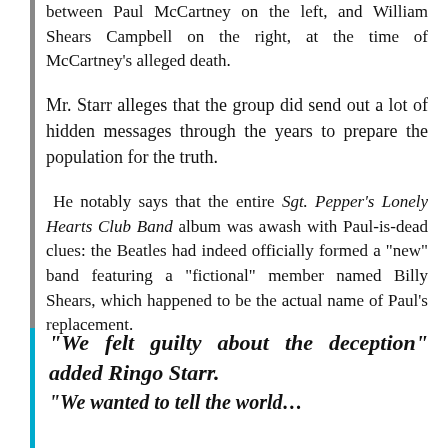between Paul McCartney on the left, and William Shears Campbell on the right, at the time of McCartney's alleged death.
Mr. Starr alleges that the group did send out a lot of hidden messages through the years to prepare the population for the truth.
He notably says that the entire Sgt. Pepper's Lonely Hearts Club Band album was awash with Paul-is-dead clues: the Beatles had indeed officially formed a “new” band featuring a “fictional” member named Billy Shears, which happened to be the actual name of Paul’s replacement.
“We felt guilty about the deception” added Ringo Starr. “We wanted to tell the world…